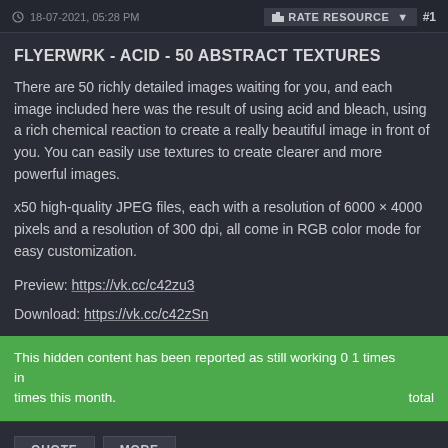18-07-2021, 05:28 PM   RATE RESOURCE   #1
FLYERWRK - ACID - 50 ABSTRACT TEXTURES
There are 50 richly detailed images waiting for you, and each image included here was the result of using acid and bleach, using a rich chemical reaction to create a really beautiful image in front of you. You can easily use textures to create clearer and more powerful images.
x50 high-quality JPEG files, each with a resolution of 6000 × 4000 pixels and a resolution of 300 dpi, all come in RGB color mode for easy customization.
Preview: https://vk.cc/c42zu3
Download: https://vk.cc/c42zSn
This hidden content has been reported as still working 0 1 times in times this month.                                                    total
QUOTE   MORE